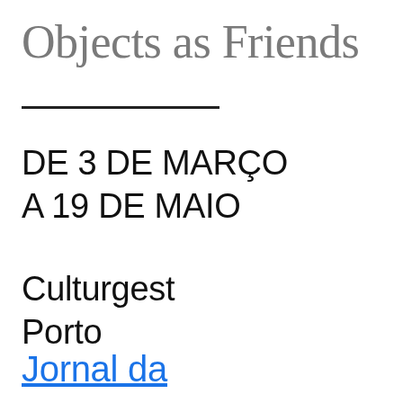Objects as Friends
DE 3 DE MARÇO
A 19 DE MAIO
Culturgest
Porto
Jornal da